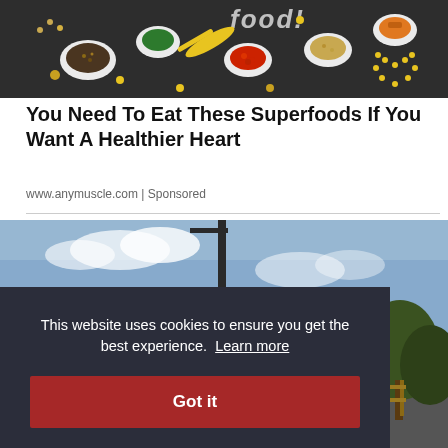[Figure (photo): Overhead/flat-lay photo of various superfoods in bowls on a dark chalkboard background, with a yellow spoon and text 'food' visible, including seeds, berries, nuts, and other health foods arranged in a decorative pattern with a heart shape.]
You Need To Eat These Superfoods If You Want A Healthier Heart
www.anymuscle.com | Sponsored
[Figure (photo): Outdoor road or rural landscape photo with a pole/mast visible against a blue sky, and a wooden fence visible in the lower right area.]
This website uses cookies to ensure you get the best experience.  Learn more
Got it